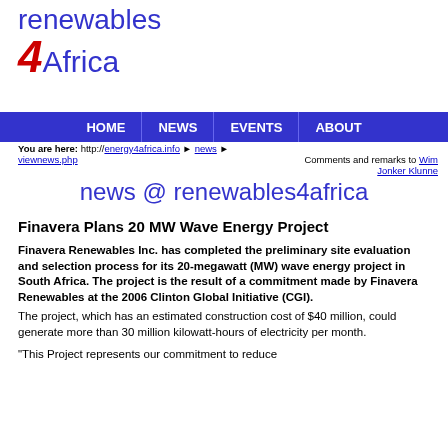[Figure (logo): renewables4Africa logo with blue text and red italic 4]
HOME | NEWS | EVENTS | ABOUT
You are here: http://energy4africa.info ▶ news ▶ viewnews.php    Comments and remarks to Wim Jonker Klunne
news @ renewables4africa
Finavera Plans 20 MW Wave Energy Project
Finavera Renewables Inc. has completed the preliminary site evaluation and selection process for its 20-megawatt (MW) wave energy project in South Africa. The project is the result of a commitment made by Finavera Renewables at the 2006 Clinton Global Initiative (CGI).
The project, which has an estimated construction cost of $40 million, could generate more than 30 million kilowatt-hours of electricity per month.
"This Project represents our commitment to reduce